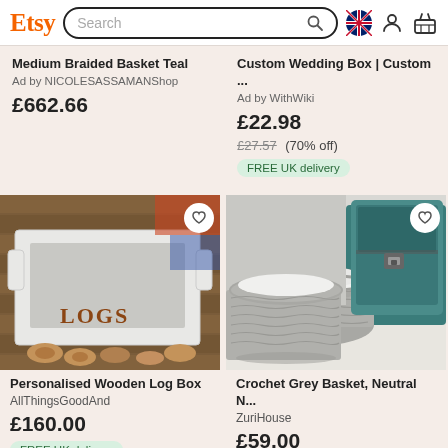Etsy — Search bar with UK flag, person icon, basket icon
Medium Braided Basket Teal
Ad by NICOLESASSAMANShop
£662.66
Custom Wedding Box | Custom ...
Ad by WithWiki
£22.98
£27.57 (70% off)
FREE UK delivery
[Figure (photo): A white wooden box with handles labelled LOGS in rustic wooden letters, surrounded by small log slices on a decking surface]
[Figure (photo): A grey crochet/knit basket filled with white fabric, next to a teal vintage trunk on a white floor]
Personalised Wooden Log Box
AllThingsGoodAnd
£160.00
FREE UK delivery
Crochet Grey Basket, Neutral N...
ZuriHouse
£59.00
FREE UK delivery